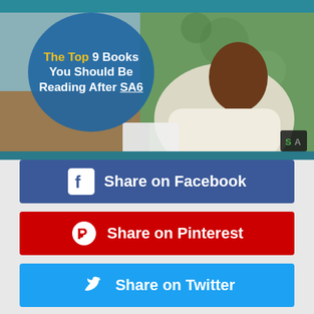[Figure (photo): Man in white sweater reading/writing outdoors, with a blue circular overlay bubble containing title text. Top header teal bar visible.]
The Top 9 Books You Should Be Reading After SA6
Share on Facebook
Share on Pinterest
Share on Twitter